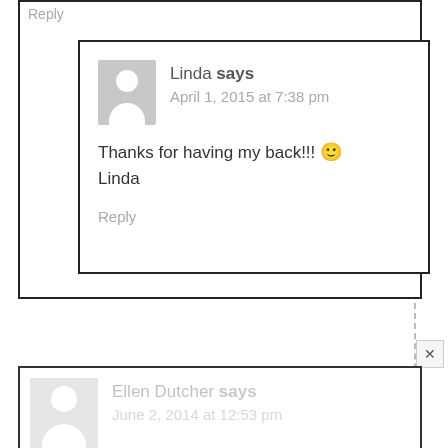Reply
Linda says
April 1, 2015 at 7:38 pm
Thanks for having my back!!! 🙂
Linda
Reply
Ellen Dutcher says
June 2, 2014 at 12:53 pm